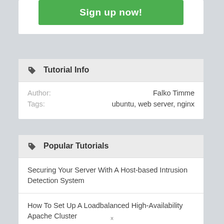Sign up now!
Tutorial Info
Author: Falko Timme
Tags: ubuntu, web server, nginx
Popular Tutorials
Securing Your Server With A Host-based Intrusion Detection System
How To Set Up A Loadbalanced High-Availability Apache Cluster
Apache: Creating A Session-Aware Loadbalancer Using mod_proxy_balancer (Debian Etch)